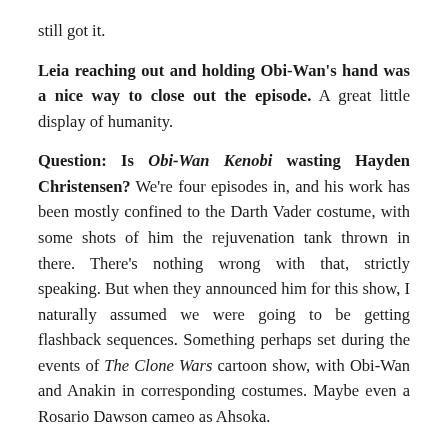still got it.
Leia reaching out and holding Obi-Wan's hand was a nice way to close out the episode. A great little display of humanity.
Question: Is Obi-Wan Kenobi wasting Hayden Christensen? We're four episodes in, and his work has been mostly confined to the Darth Vader costume, with some shots of him the rejuvenation tank thrown in there. There's nothing wrong with that, strictly speaking. But when they announced him for this show, I naturally assumed we were going to be getting flashback sequences. Something perhaps set during the events of The Clone Wars cartoon show, with Obi-Wan and Anakin in corresponding costumes. Maybe even a Rosario Dawson cameo as Ahsoka.